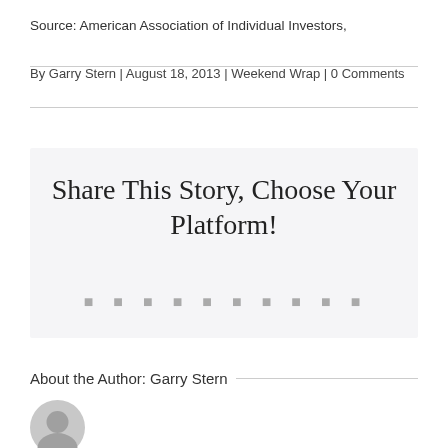Source: American Association of Individual Investors,
By Garry Stern | August 18, 2013 | Weekend Wrap | 0 Comments
Share This Story, Choose Your Platform!
[Figure (other): Row of social media sharing icons]
About the Author: Garry Stern
[Figure (photo): Author avatar circle placeholder]